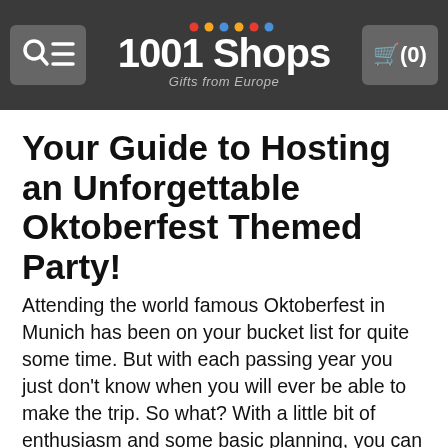1001 Shops – Gifts from Europe
Your Guide to Hosting an Unforgettable Oktoberfest Themed Party!
Attending the world famous Oktoberfest in Munich has been on your bucket list for quite some time. But with each passing year you just don't know when you will ever be able to make the trip. So what? With a little bit of enthusiasm and some basic planning, you can easily host an Oktoberfest celebration on your own this autumn! The real Oktoberfest is kicked off with the tapping of a beer keg. The festival consists of exquisite German food, music, dance, rides and a whole lot of beer. Following these steps will allow you to throw one of the most unforgettable Oktoberfest celebrations in town!
1. Planning your Party Outdoors
Considering that the fest traditionally takes place in an